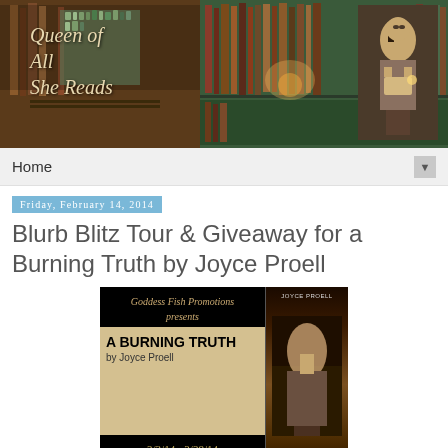[Figure (illustration): Blog header banner for 'Queen of All She Reads' showing a steampunk-styled woman reading a book in a library with bookshelves]
Home
Friday, February 14, 2014
Blurb Blitz Tour & Giveaway for a Burning Truth by Joyce Proell
[Figure (infographic): Goddess Fish Promotions presents A BURNING TRUTH by Joyce Proell, 2/3/14 - 2/28/14 Blurb Blitz Tour, with book cover image]